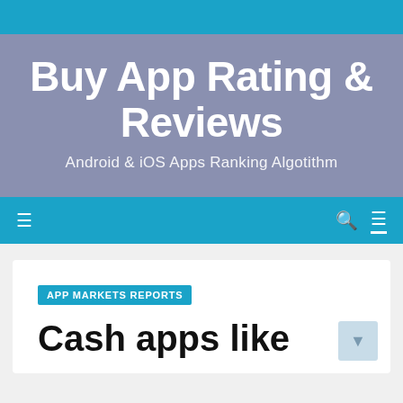Buy App Rating & Reviews
Android & iOS Apps Ranking Algotithm
Buy App Rating & Reviews
Android & iOS Apps Ranking Algotithm
APP MARKETS REPORTS
Cash apps like